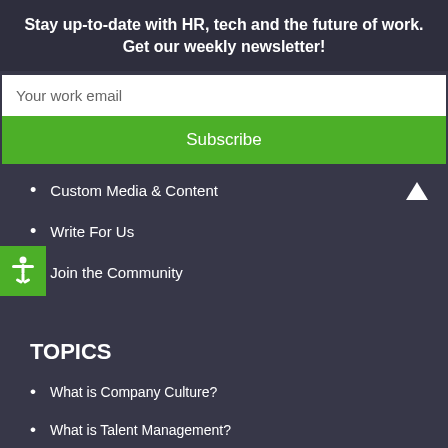Stay up-to-date with HR, tech and the future of work. Get our weekly newsletter!
Your work email
Subscribe
Custom Media & Content
Write For Us
Join the Community
TOPICS
What is Company Culture?
What is Talent Management?
What is the Future of Work?